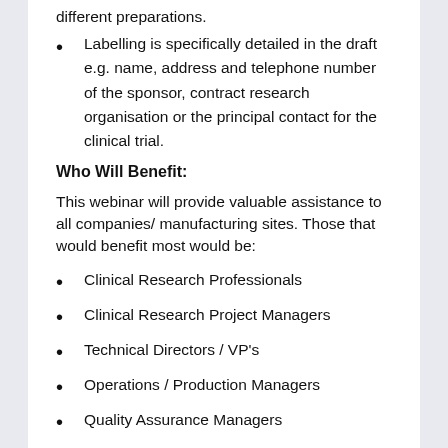different preparations.
Labelling is specifically detailed in the draft e.g. name, address and telephone number of the sponsor, contract research organisation or the principal contact for the clinical trial.
Who Will Benefit:
This webinar will provide valuable assistance to all companies/ manufacturing sites. Those that would benefit most would be:
Clinical Research Professionals
Clinical Research Project Managers
Technical Directors / VP's
Operations / Production Managers
Quality Assurance Managers